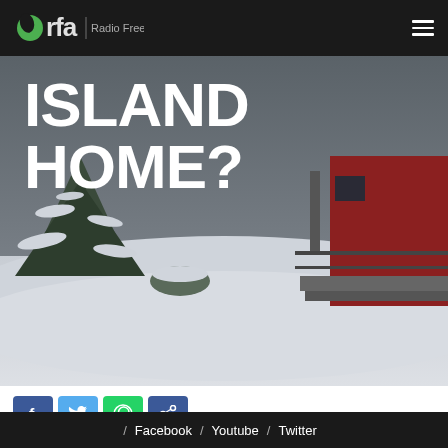rfa | Radio Free Asia
[Figure (photo): Snow-covered outdoor scene with trees and a house in background, with large white text overlay reading ISLAND HOME?]
ISLAND HOME?
[Figure (other): Row of social sharing buttons: Facebook (blue), Twitter (light blue), WhatsApp (green), Share (blue)]
/ Facebook / Youtube / Twitter